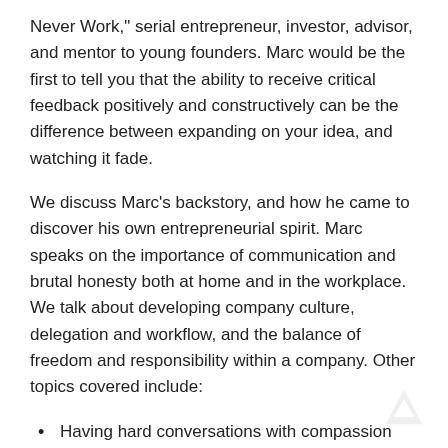Never Work," serial entrepreneur, investor, advisor, and mentor to young founders. Marc would be the first to tell you that the ability to receive critical feedback positively and constructively can be the difference between expanding on your idea, and watching it fade.
We discuss Marc's backstory, and how he came to discover his own entrepreneurial spirit. Marc speaks on the importance of communication and brutal honesty both at home and in the workplace. We talk about developing company culture, delegation and workflow, and the balance of freedom and responsibility within a company. Other topics covered include:
Having hard conversations with compassion
Socratic discussion and problem solving
Important skill sets for entrepreneurs
Work/life balance
Identifying the few important things to get right that will solve the rest of the problems